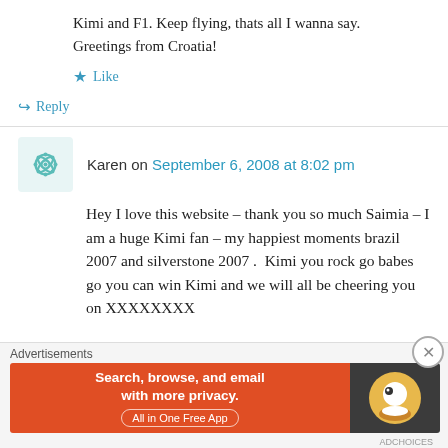Kimi and F1. Keep flying, thats all I wanna say. Greetings from Croatia!
★ Like
↪ Reply
Karen on September 6, 2008 at 8:02 pm
Hey I love this website – thank you so much Saimia – I am a huge Kimi fan – my happiest moments brazil 2007 and silverstone 2007 .  Kimi you rock go babes go you can win Kimi and we will all be cheering you on XXXXXXXX
Advertisements
[Figure (other): DuckDuckGo advertisement banner: Search, browse, and email with more privacy. All in One Free App.]